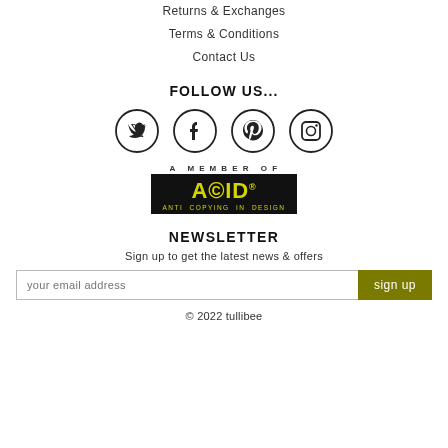Returns & Exchanges
Terms & Conditions
Contact Us
FOLLOW US...
[Figure (other): Four social media icons in circles: Twitter, Facebook, Pinterest, Instagram]
[Figure (logo): ACID - Anti Copying In Design logo. Black background with yellow ACID text and 'ANTI COPYING IN DESIGN' subtitle. Labeled 'A MEMBER OF' above.]
NEWSLETTER
Sign up to get the latest news & offers
your email address
sign up
© 2022 tullibee